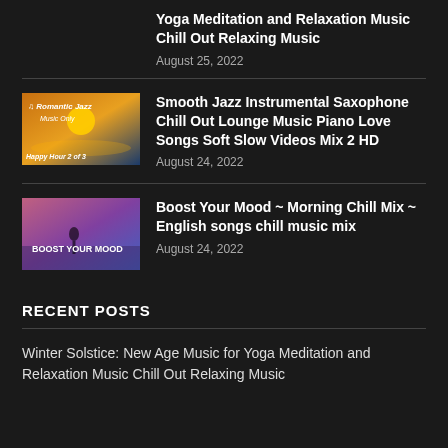Yoga Meditation and Relaxation Music Chill Out Relaxing Music
August 25, 2022
Smooth Jazz Instrumental Saxophone Chill Out Lounge Music Piano Love Songs Soft Slow Videos Mix 2 HD
August 24, 2022
Boost Your Mood ~ Morning Chill Mix ~ English songs chill music mix
August 24, 2022
RECENT POSTS
Winter Solstice: New Age Music for Yoga Meditation and Relaxation Music Chill Out Relaxing Music